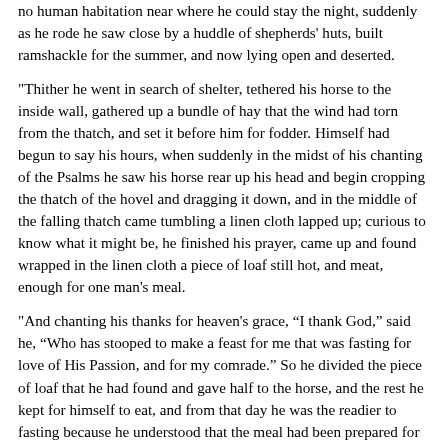no human habitation near where he could stay the night, suddenly as he rode he saw close by a huddle of shepherds' huts, built ramshackle for the summer, and now lying open and deserted.
"Thither he went in search of shelter, tethered his horse to the inside wall, gathered up a bundle of hay that the wind had torn from the thatch, and set it before him for fodder. Himself had begun to say his hours, when suddenly in the midst of his chanting of the Psalms he saw his horse rear up his head and begin cropping the thatch of the hovel and dragging it down, and in the middle of the falling thatch came tumbling a linen cloth lapped up; curious to know what it might be, he finished his prayer, came up and found wrapped in the linen cloth a piece of loaf still hot, and meat, enough for one man's meal.
"And chanting his thanks for heaven's grace, “I thank God,” said he, “Who has stooped to make a feast for me that was fasting for love of His Passion, and for my comrade.” So he divided the piece of loaf that he had found and gave half to the horse, and the rest he kept for himself to eat, and from that day he was the readier to fasting because he understood that the meal had been prepared for him in the solitude by His gift Who of old fed Elijah the solitary in like fashion by the birds, when there was no man near to minister to him; Whose eyes are on them that fear Him and that hope in His mercy, that He will snatch their souls from death and cherish them